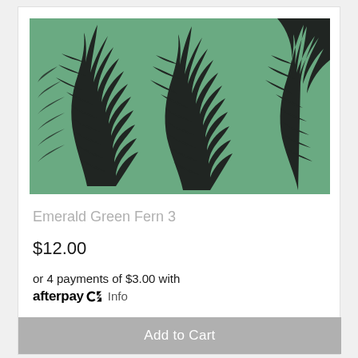[Figure (photo): Emerald green fabric with repeating black fern leaf pattern, multiple curved fern fronds visible against green background]
Emerald Green Fern 3
$12.00
or 4 payments of $3.00 with afterpay Info
Add to Cart